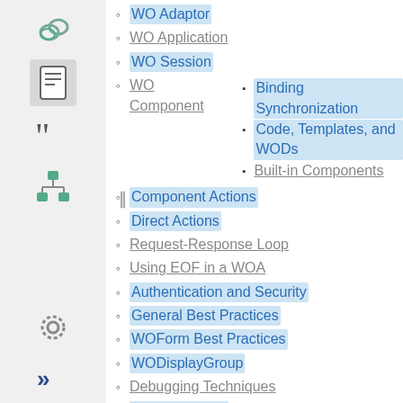WO Adaptor
WO Application
WO Session
WO Component
Binding Synchronization
Code, Templates, and WODs
Built-in Components
Component Actions
Direct Actions
Request-Response Loop
Using EOF in a WOA
Authentication and Security
General Best Practices
WOForm Best Practices
WODisplayGroup
Debugging Techniques
Direct Connect
Frameworks
Ajax
CSS
Sending Emails
The Build Products
Errors and Explanations